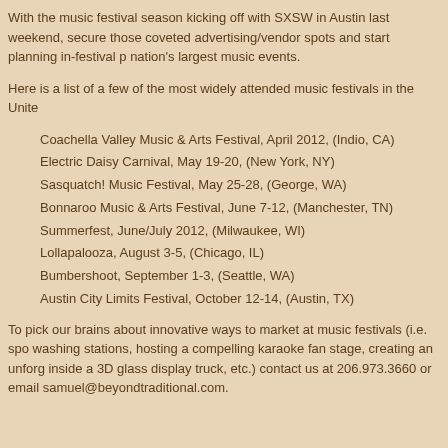With the music festival season kicking off with SXSW in Austin last weekend, secure those coveted advertising/vendor spots and start planning in-festival p nation's largest music events.
Here is a list of a few of the most widely attended music festivals in the United
Coachella Valley Music & Arts Festival, April 2012, (Indio, CA)
Electric Daisy Carnival, May 19-20, (New York, NY)
Sasquatch! Music Festival, May 25-28, (George, WA)
Bonnaroo Music & Arts Festival, June 7-12, (Manchester, TN)
Summerfest, June/July 2012, (Milwaukee, WI)
Lollapalooza, August 3-5, (Chicago, IL)
Bumbershoot, September 1-3, (Seattle, WA)
Austin City Limits Festival, October 12-14, (Austin, TX)
To pick our brains about innovative ways to market at music festivals (i.e. spo washing stations, hosting a compelling karaoke fan stage, creating an unforg inside a 3D glass display truck, etc.) contact us at 206.973.3660 or email samuel@beyondtraditional.com.